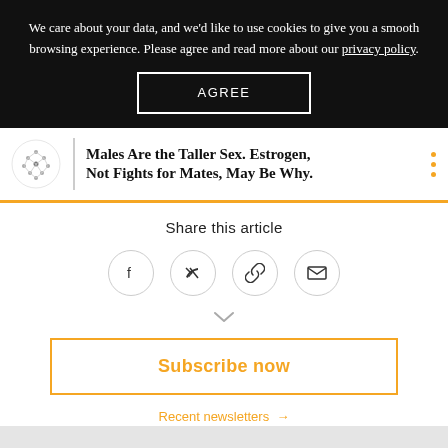We care about your data, and we'd like to use cookies to give you a smooth browsing experience. Please agree and read more about our privacy policy.
AGREE
Males Are the Taller Sex. Estrogen, Not Fights for Mates, May Be Why.
Share this article
Subscribe now
Recent newsletters →